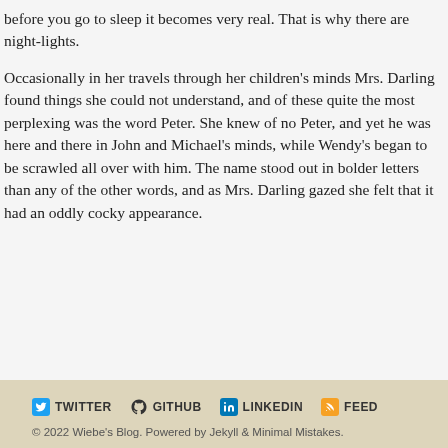before you go to sleep it becomes very real. That is why there are night-lights.
Occasionally in her travels through her children's minds Mrs. Darling found things she could not understand, and of these quite the most perplexing was the word Peter. She knew of no Peter, and yet he was here and there in John and Michael's minds, while Wendy's began to be scrawled all over with him. The name stood out in bolder letters than any of the other words, and as Mrs. Darling gazed she felt that it had an oddly cocky appearance.
TWITTER   GITHUB   LINKEDIN   FEED
© 2022 Wiebe's Blog. Powered by Jekyll & Minimal Mistakes.